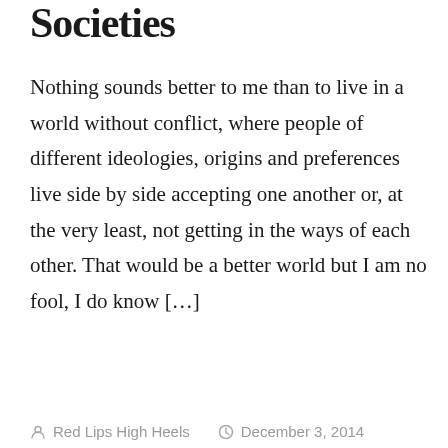Societies
Nothing sounds better to me than to live in a world without conflict, where people of different ideologies, origins and preferences live side by side accepting one another or, at the very least, not getting in the ways of each other. That would be a better world but I am no fool, I do know […]
Red Lips High Heels   December 3, 2014